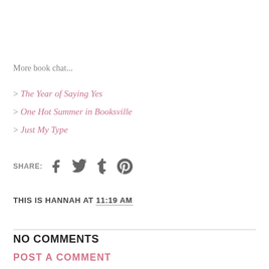More book chat...
> The Year of Saying Yes
> One Hot Summer in Booksville
> Just My Type
SHARE: [facebook] [twitter] [tumblr] [pinterest]
THIS IS HANNAH AT 11:19 AM
NO COMMENTS
POST A COMMENT